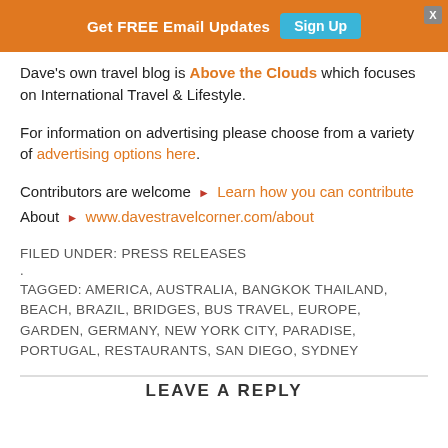Get FREE Email Updates  Sign Up
Dave's own travel blog is Above the Clouds which focuses on International Travel & Lifestyle.
For information on advertising please choose from a variety of advertising options here.
Contributors are welcome ▶ Learn how you can contribute
About ▶ www.davestravelcorner.com/about
FILED UNDER: PRESS RELEASES
.
TAGGED: AMERICA, AUSTRALIA, BANGKOK THAILAND, BEACH, BRAZIL, BRIDGES, BUS TRAVEL, EUROPE, GARDEN, GERMANY, NEW YORK CITY, PARADISE, PORTUGAL, RESTAURANTS, SAN DIEGO, SYDNEY
LEAVE A REPLY